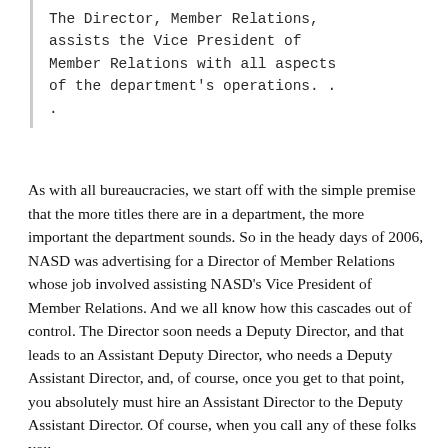The Director, Member Relations, assists the Vice President of Member Relations with all aspects of the department's operations. . .
As with all bureaucracies, we start off with the simple premise that the more titles there are in a department, the more important the department sounds. So in the heady days of 2006, NASD was advertising for a Director of Member Relations whose job involved assisting NASD's Vice President of Member Relations. And we all know how this cascades out of control. The Director soon needs a Deputy Director, and that leads to an Assistant Deputy Director, who needs a Deputy Assistant Director, and, of course, once you get to that point, you absolutely must hire an Assistant Director to the Deputy Assistant Director. Of course, when you call any of these folks you